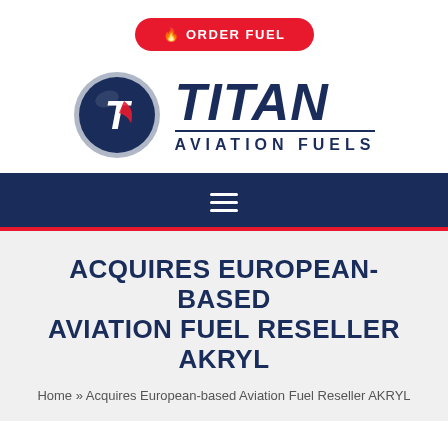[Figure (logo): Titan Aviation Fuels logo with circular emblem containing a white T with red wing accent on dark blue background, and TITAN in bold dark blue italic font with AVIATION FUELS below]
ORDER FUEL
ACQUIRES EUROPEAN-BASED AVIATION FUEL RESELLER AKRYL
Home » Acquires European-based Aviation Fuel Reseller AKRYL